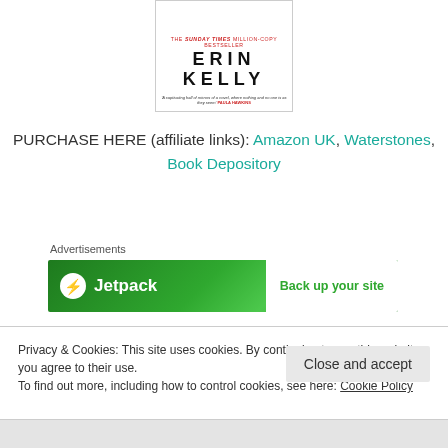[Figure (illustration): Book cover showing 'ERIN KELLY' as author with subtitle 'THE SUNDAY TIMES MILLION-COPY BESTSELLER' and quote from PAULA HAWKINS]
PURCHASE HERE (affiliate links): Amazon UK, Waterstones, Book Depository
Advertisements
[Figure (screenshot): Jetpack advertisement banner: Jetpack logo on green background with text 'Back up your site']
I only finished Watch Her Fall a couple of days ago, and it was fantastic! I am part of the blog tour for this book, so my review will be up on my stop on
Privacy & Cookies: This site uses cookies. By continuing to use this website, you agree to their use.
To find out more, including how to control cookies, see here: Cookie Policy
Close and accept